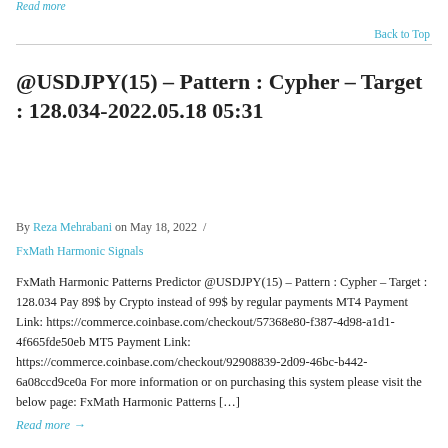Read more
Back to Top
@USDJPY(15) – Pattern : Cypher – Target : 128.034-2022.05.18 05:31
By Reza Mehrabani on May 18, 2022 /
FxMath Harmonic Signals
FxMath Harmonic Patterns Predictor @USDJPY(15) – Pattern : Cypher – Target : 128.034 Pay 89$ by Crypto instead of 99$ by regular payments MT4 Payment Link: https://commerce.coinbase.com/checkout/57368e80-f387-4d98-a1d1-4f665fde50eb MT5 Payment Link: https://commerce.coinbase.com/checkout/92908839-2d09-46bc-b442-6a08ccd9ce0a For more information or on purchasing this system please visit the below page: FxMath Harmonic Patterns […]
Read more →